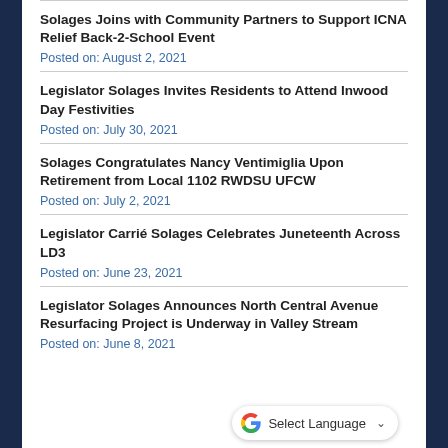Solages Joins with Community Partners to Support ICNA Relief Back-2-School Event
Posted on: August 2, 2021
Legislator Solages Invites Residents to Attend Inwood Day Festivities
Posted on: July 30, 2021
Solages Congratulates Nancy Ventimiglia Upon Retirement from Local 1102 RWDSU UFCW
Posted on: July 2, 2021
Legislator Carrié Solages Celebrates Juneteenth Across LD3
Posted on: June 23, 2021
Legislator Solages Announces North Central Avenue Resurfacing Project is Underway in Valley Stream
Posted on: June 8, 2021